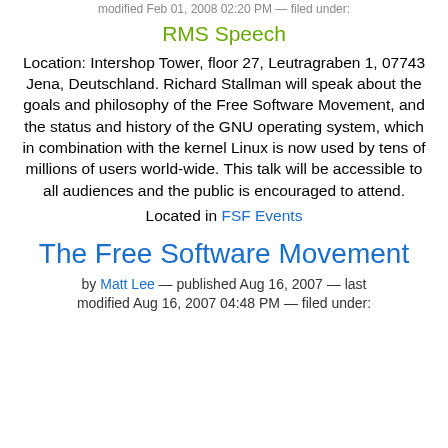modified Feb 01, 2008 02:20 PM — filed under:
RMS Speech
Location: Intershop Tower, floor 27, Leutragraben 1, 07743 Jena, Deutschland. Richard Stallman will speak about the goals and philosophy of the Free Software Movement, and the status and history of the GNU operating system, which in combination with the kernel Linux is now used by tens of millions of users world-wide. This talk will be accessible to all audiences and the public is encouraged to attend.
Located in FSF Events
The Free Software Movement
by Matt Lee — published Aug 16, 2007 — last modified Aug 16, 2007 04:48 PM — filed under: